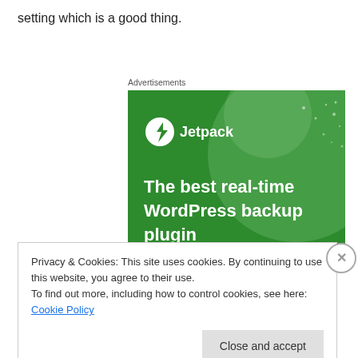setting which is a good thing.
Advertisements
[Figure (illustration): Jetpack advertisement banner on a green background. Shows the Jetpack logo (white circle with lightning bolt icon) and the text 'The best real-time WordPress backup plugin' in white bold text. Background features large semi-transparent green circle and scattered dots/sparkles.]
Privacy & Cookies: This site uses cookies. By continuing to use this website, you agree to their use.
To find out more, including how to control cookies, see here: Cookie Policy
Close and accept